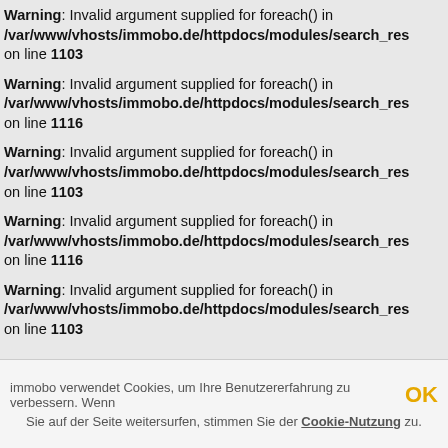Warning: Invalid argument supplied for foreach() in /var/www/vhosts/immobo.de/httpdocs/modules/search_res on line 1103
Warning: Invalid argument supplied for foreach() in /var/www/vhosts/immobo.de/httpdocs/modules/search_res on line 1116
Warning: Invalid argument supplied for foreach() in /var/www/vhosts/immobo.de/httpdocs/modules/search_res on line 1103
Warning: Invalid argument supplied for foreach() in /var/www/vhosts/immobo.de/httpdocs/modules/search_res on line 1116
Warning: Invalid argument supplied for foreach() in /var/www/vhosts/immobo.de/httpdocs/modules/search_res on line 1103
immobo verwendet Cookies, um Ihre Benutzererfahrung zu verbessern. Wenn OK
Sie auf der Seite weitersurfen, stimmen Sie der Cookie-Nutzung zu.